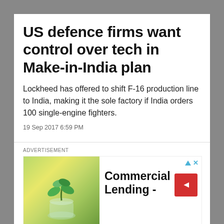US defence firms want control over tech in Make-in-India plan
Lockheed has offered to shift F-16 production line to India, making it the sole factory if India orders 100 single-engine fighters.
19 Sep 2017 6:59 PM
ADVERTISEMENT
[Figure (photo): Advertisement banner: plant seedling in a jar on blurred background, with text 'Commercial Lending -' and a red button]
Commercial Lending -